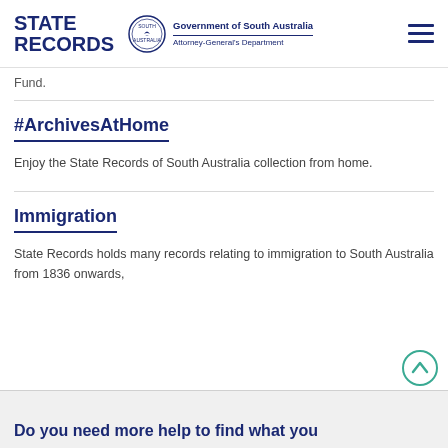STATE RECORDS | Government of South Australia | Attorney-General's Department
Fund.
#ArchivesAtHome
Enjoy the State Records of South Australia collection from home.
Immigration
State Records holds many records relating to immigration to South Australia from 1836 onwards,
Do you need more help to find what you